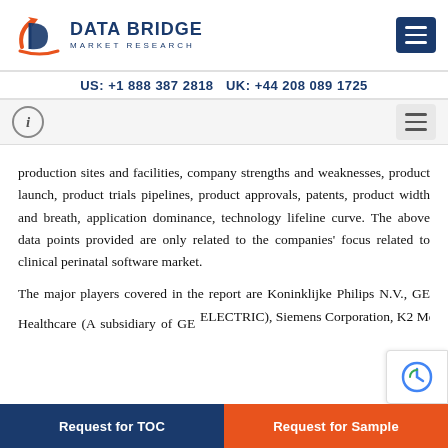DATA BRIDGE MARKET RESEARCH | US: +1 888 387 2818 UK: +44 208 089 1725
production sites and facilities, company strengths and weaknesses, product launch, product trials pipelines, product approvals, patents, product width and breath, application dominance, technology lifeline curve. The above data points provided are only related to the companies' focus related to clinical perinatal software market.
The major players covered in the report are Koninklijke Philips N.V., GE Healthcare (A subsidiary of GE ELECTRIC), Siemens Corporation, K2 Medical Systems,